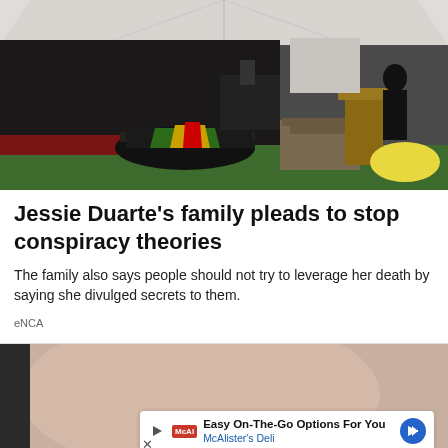[Figure (photo): Funeral or memorial service under a white tent. Rows of mourners seated on the left, a flag-draped coffin in the center on a green floor with red carpet, and a speaker at a wooden podium on the right. Camera crew visible in background.]
Jessie Duarte's family pleads to stop conspiracy theories
The family also says people should not try to leverage her death by saying she divulged secrets to them.
eNCA
[Figure (photo): Close-up of a person's face (partially visible). An advertisement overlay reads: 'Easy On-The-Go Options For You — McAlister's Deli' with a red McAl logo and a blue arrow button.]